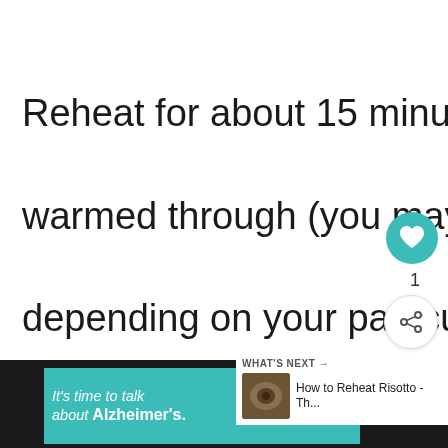Reheat for about 15 minutes or until warmed through (you may need longer depending on your particular model)
[Figure (screenshot): Heart/like button (teal circle with heart icon) with count of 1, and a share button below it]
[Figure (screenshot): What's Next panel showing a food image thumbnail and text 'How to Reheat Risotto - Th...']
[Figure (screenshot): Advertisement banner: 'It's time to talk about Alzheimer's.' with LEARN MORE button and Alzheimer's Association logo]